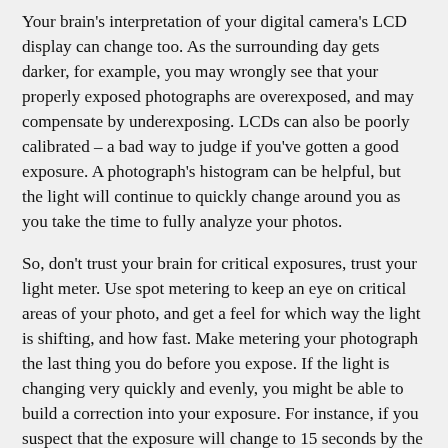Your brain's interpretation of your digital camera's LCD display can change too. As the surrounding day gets darker, for example, you may wrongly see that your properly exposed photographs are overexposed, and may compensate by underexposing. LCDs can also be poorly calibrated – a bad way to judge if you've gotten a good exposure. A photograph's histogram can be helpful, but the light will continue to quickly change around you as you take the time to fully analyze your photos.
So, don't trust your brain for critical exposures, trust your light meter. Use spot metering to keep an eye on critical areas of your photo, and get a feel for which way the light is shifting, and how fast. Make metering your photograph the last thing you do before you expose. If the light is changing very quickly and evenly, you might be able to build a correction into your exposure. For instance, if you suspect that the exposure will change to 15 seconds by the time you finish your 10 second exposure, expose for 15 seconds, or somewhere in